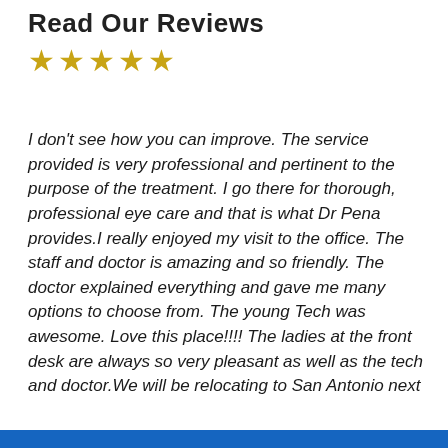Read Our Reviews
★★★★★
I don't see how you can improve. The service provided is very professional and pertinent to the purpose of the treatment. I go there for thorough, professional eye care and that is what Dr Pena provides.I really enjoyed my visit to the office. The staff and doctor is amazing and so friendly. The doctor explained everything and gave me many options to choose from. The young Tech was awesome. Love this place!!!! The ladies at the front desk are always so very pleasant as well as the tech and doctor.We will be relocating to San Antonio next